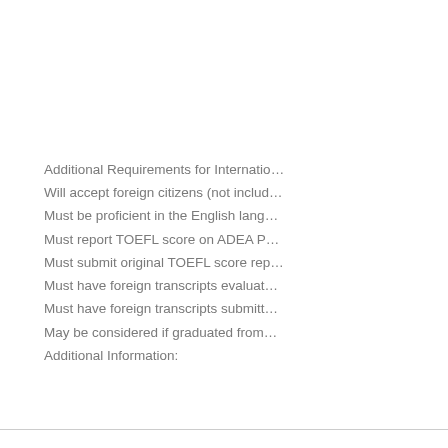Additional Requirements for Internatio…
Will accept foreign citizens (not includ…
Must be proficient in the English lang…
Must report TOEFL score on ADEA P…
Must submit original TOEFL score rep…
Must have foreign transcripts evaluat…
Must have foreign transcripts submitt…
May be considered if graduated from…
Additional Information: